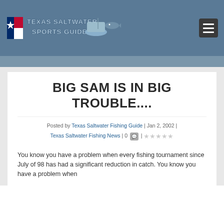Texas Saltwater Sports Guide
BIG SAM IS IN BIG TROUBLE....
Posted by Texas Saltwater Fishing Guide | Jan 2, 2002 | Texas Saltwater Fishing News | 0 | ★★★★★
You know you have a problem when every fishing tournament since July of 98 has had a significant reduction in catch. You know you have a problem when